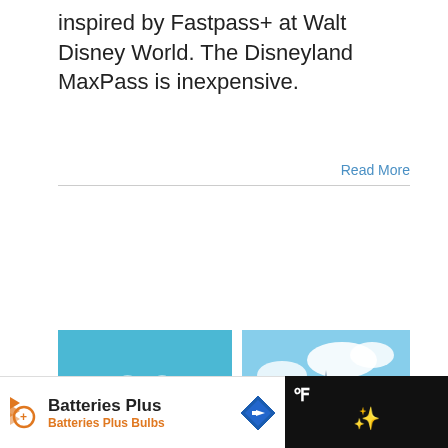inspired by Fastpass+ at Walt Disney World. The Disneyland MaxPass is inexpensive.
Read More
[Figure (photo): Date box showing 23 / 02, 2019 in teal, with pencil icon below on grey background]
[Figure (photo): Photo of two women smiling in front of Cinderella Castle at Walt Disney World]
How to Participate in Pin Trading at Disney
By Meagan | Categories: Disney, Disney World, Disneyland
WHAT'S NEXT → 5 Day Phuket Itinerary
[Figure (infographic): Batteries Plus advertisement banner with orange logo, brand name, and road sign icon]